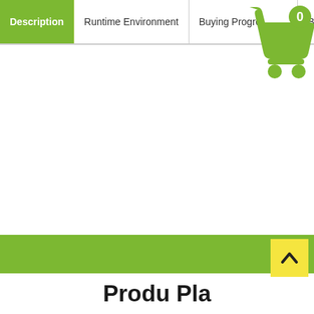Description | Runtime Environment | Buying Progress | Buyer ...
[Figure (illustration): Green shopping cart icon with the number 0 badge, indicating empty cart]
[Figure (other): Yellow back-to-top button with upward caret arrow, positioned in bottom-right over green footer bar]